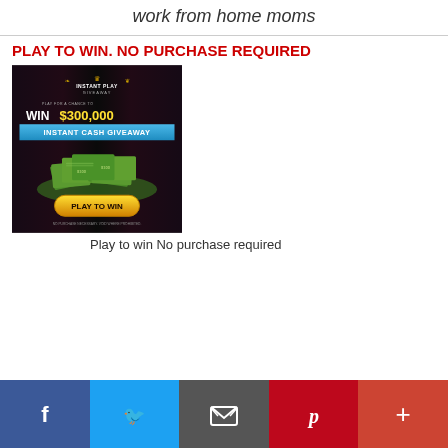work from home moms
PLAY TO WIN. NO PURCHASE REQUIRED
[Figure (infographic): Instant Play Giveaway advertisement showing WIN $300,000 INSTANT CASH GIVEAWAY with a pile of money and PLAY TO WIN button. Text at bottom: NO PURCHASE NECESSARY. VOID WHERE PROHIBITED.]
Play to win No purchase required
[Figure (infographic): Social media share bar with Facebook, Twitter, Email, Pinterest, and More buttons]